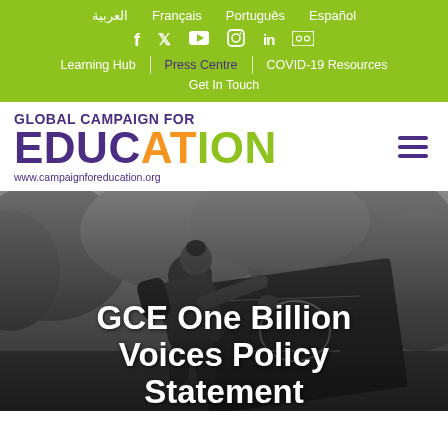العربية  Français  Português  Español
f  twitter  youtube  instagram  in  flickr
Learning Hub | Press Centre | COVID-19 Resources | Get In Touch
[Figure (logo): Global Campaign for Education logo with 'GLOBAL CAMPAIGN FOR' in purple, 'EDUC' in purple, 'AT' in orange, 'ION' in green, and www.campaignforeducation.org URL below]
[Figure (photo): Black and white photo of a person (likely a teacher or student) leaning over a blackboard and writing on it outdoors]
GCE One Billion Voices Policy Statement